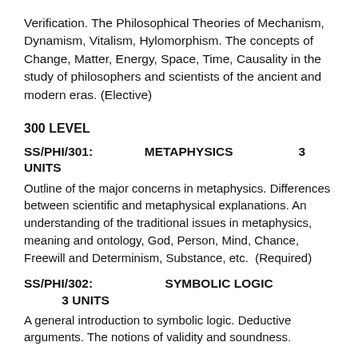Verification. The Philosophical Theories of Mechanism, Dynamism, Vitalism, Hylomorphism. The concepts of Change, Matter, Energy, Space, Time, Causality in the study of philosophers and scientists of the ancient and modern eras. (Elective)
300 LEVEL
SS/PHI/301:          METAPHYSICS          3 UNITS
Outline of the major concerns in metaphysics. Differences between scientific and metaphysical explanations. An understanding of the traditional issues in metaphysics, meaning and ontology, God, Person, Mind, Chance, Freewill and Determinism, Substance, etc.  (Required)
SS/PHI/302:               SYMBOLIC LOGIC          3 UNITS
A general introduction to symbolic logic. Deductive arguments. The notions of validity and soundness.